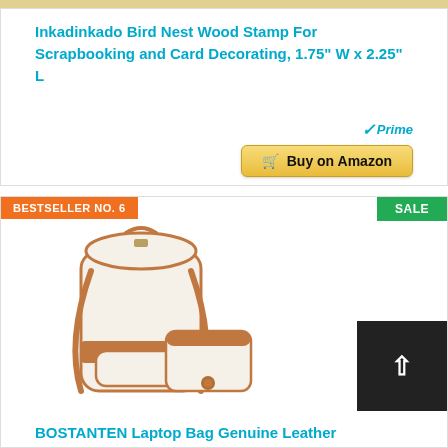[Figure (photo): Product image of Inkadinkado Bird Nest Wood Stamp (top edge visible)]
Inkadinkado Bird Nest Wood Stamp For Scrapbooking and Card Decorating, 1.75" W x 2.25" L
[Figure (logo): Amazon Prime logo with checkmark]
Buy on Amazon
BESTSELLER NO. 6
SALE
[Figure (photo): BOSTANTEN laptop bag and wallet set in cream and brown leather]
BOSTANTEN Laptop Bag Genuine Leather